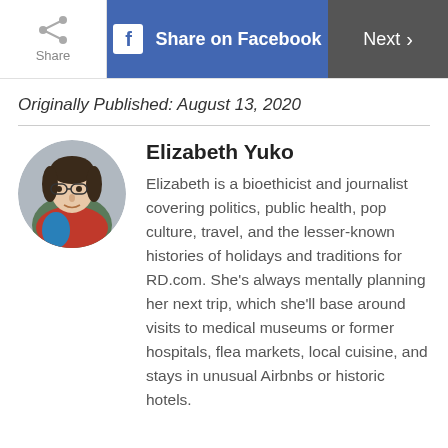Share | Share on Facebook | Next >
Originally Published: August 13, 2020
[Figure (photo): Circular headshot photo of Elizabeth Yuko, a woman with dark hair and glasses wearing a red/blue top, photographed outdoors]
Elizabeth Yuko
Elizabeth is a bioethicist and journalist covering politics, public health, pop culture, travel, and the lesser-known histories of holidays and traditions for RD.com. She's always mentally planning her next trip, which she'll base around visits to medical museums or former hospitals, flea markets, local cuisine, and stays in unusual Airbnbs or historic hotels.